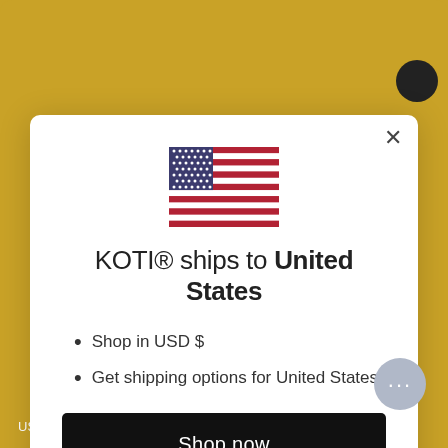[Figure (screenshot): US flag emoji/icon displayed at top center of modal]
KOTI® ships to United States
Shop in USD $
Get shipping options for United States
Shop now
Change shipping country